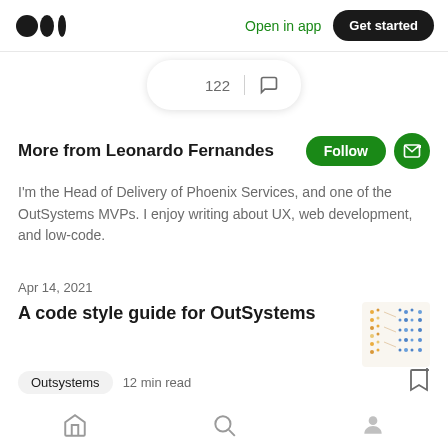Medium logo | Open in app | Get started
[Figure (infographic): Clap icon with count 122 and comment icon]
More from Leonardo Fernandes
I'm the Head of Delivery of Phoenix Services, and one of the OutSystems MVPs. I enjoy writing about UX, web development, and low-code.
Apr 14, 2021
A code style guide for OutSystems
Outsystems  12 min read
Home | Search | Profile